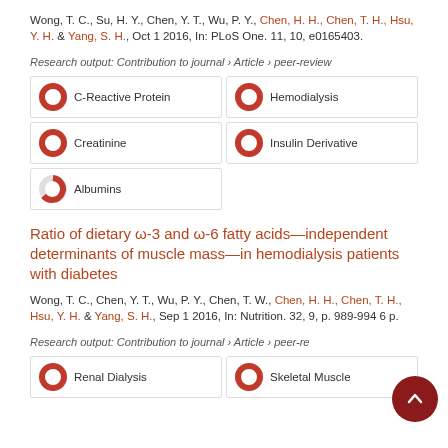Wong, T. C., Su, H. Y., Chen, Y. T., Wu, P. Y., Chen, H. H., Chen, T. H., Hsu, Y. H. & Yang, S. H., Oct 1 2016, In: PLoS One. 11, 10, e0165403.
Research output: Contribution to journal › Article › peer-review
C-Reactive Protein
Hemodialysis
Creatinine
Insulin Derivative
Albumins
Ratio of dietary ω-3 and ω-6 fatty acids—independent determinants of muscle mass—in hemodialysis patients with diabetes
Wong, T. C., Chen, Y. T., Wu, P. Y., Chen, T. W., Chen, H. H., Chen, T. H., Hsu, Y. H. & Yang, S. H., Sep 1 2016, In: Nutrition. 32, 9, p. 989-994 6 p.
Research output: Contribution to journal › Article › peer-review
Renal Dialysis
Skeletal Muscle